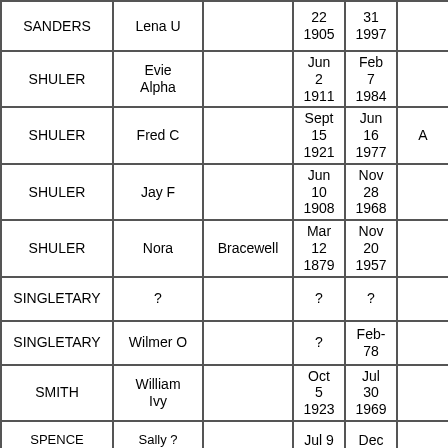| Last Name | First Name | Maiden Name | Birth Date | Death Date | Other |
| --- | --- | --- | --- | --- | --- |
| SANDERS | Lena U |  | 22 1905 | 31 1997 |  |
| SHULER | Evie Alpha |  | Jun 2 1911 | Feb 7 1984 |  |
| SHULER | Fred C |  | Sept 15 1921 | Jun 16 1977 | A |
| SHULER | Jay F |  | Jun 10 1908 | Nov 28 1968 |  |
| SHULER | Nora | Bracewell | Mar 12 1879 | Nov 20 1957 |  |
| SINGLETARY | ? |  | ? | ? |  |
| SINGLETARY | Wilmer O |  | ? | Feb-78 |  |
| SMITH | William Ivy |  | Oct 5 1923 | Jul 30 1969 |  |
| SPENCE | Sally ? |  | Jul 9 | Dec |  |